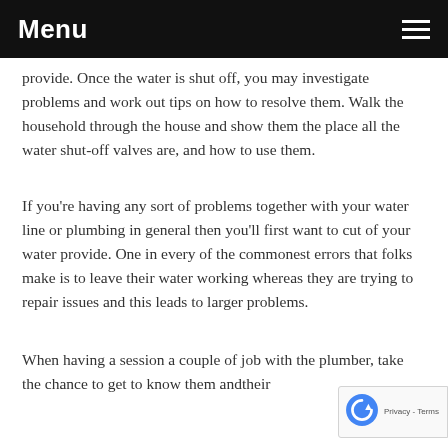Menu
provide. Once the water is shut off, you may investigate problems and work out tips on how to resolve them. Walk the household through the house and show them the place all the water shut-off valves are, and how to use them.
If you're having any sort of problems together with your water line or plumbing in general then you'll first want to cut of your water provide. One in every of the commonest errors that folks make is to leave their water working whereas they are trying to repair issues and this leads to larger problems.
When having a session a couple of job with the plumber, take the chance to get to know them andtheir